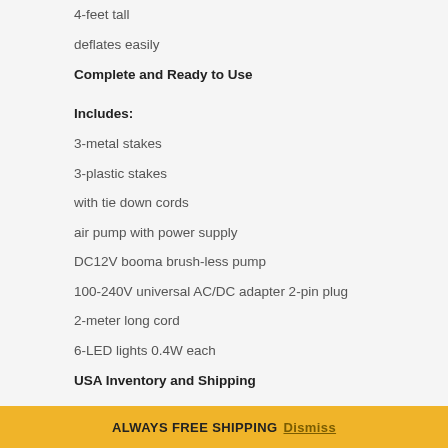4-feet tall
deflates easily
Complete and Ready to Use
Includes:
3-metal stakes
3-plastic stakes
with tie down cords
air pump with power supply
DC12V booma brush-less pump
100-240V universal AC/DC adapter 2-pin plug
2-meter long cord
6-LED lights 0.4W each
USA Inventory and Shipping
See pictures for color and design
Contact us with any questions you might have before making your purchase
ALWAYS FREE SHIPPING Dismiss